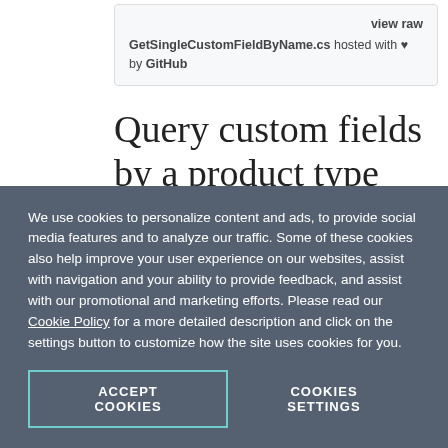view raw GetSingleCustomFieldByName.cs hosted with ♥ by GitHub
Query custom fields by a product type
To query a single custom field, you must perform the following:
We use cookies to personalize content and ads, to provide social media features and to analyze our traffic. Some of these cookies also help improve your user experience on our websites, assist with navigation and your ability to provide feedback, and assist with our promotional and marketing efforts. Please read our Cookie Policy for a more detailed description and click on the settings button to customize how the site uses cookies for you.
ACCEPT COOKIES
COOKIES SETTINGS